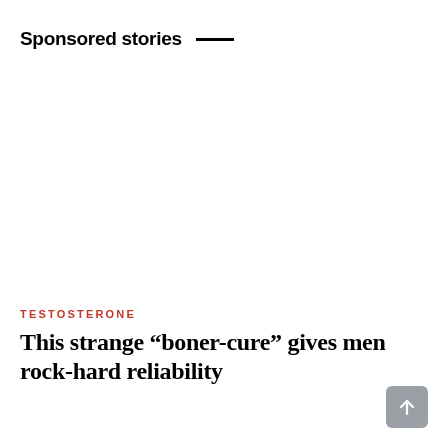Sponsored stories
TESTOSTERONE
This strange “boner-cure” gives men rock-hard reliability